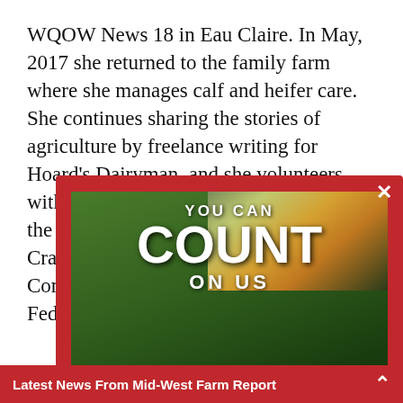WQOW News 18 in Eau Claire. In May, 2017 she returned to the family farm where she manages calf and heifer care. She continues sharing the stories of agriculture by freelance writing for Hoard's Dairyman, and she volunteers with agricultural organizations such as the Crawford County Dairy Promoters, Crawford County Livestock Camp Committee, and Wisconsin Farm Bureau Federation.
[Figure (illustration): John Deere / Mid-State Equipment advertisement popup with red border and close button. Shows green John Deere tractors and equipment on grass with text 'YOU CAN COUNT ON US' overlaid on a farm landscape background. Bottom bar shows John Deere and Mid-State Equipment logos.]
“As... Wi... Ri... ces of a... run... d, fu...
Mo... nd a passion for Wisconsin agriculture through her...
Latest News From Mid-West Farm Report